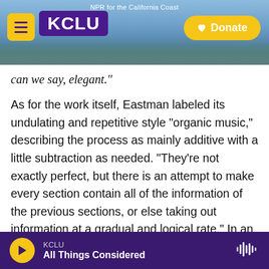[Figure (screenshot): KCLU NPR radio station website header with coastal California background photo, hamburger menu button, KCLU purple logo, and yellow Donate button. Text reads 'NPR for the California Coast'.]
can we say, elegant."
As for the work itself, Eastman labeled its undulating and repetitive style "organic music," describing the process as mainly additive with a little subtraction as needed. "They're not exactly perfect, but there is an attempt to make every section contain all of the information of the previous sections, or else taking out information at a gradual and logical rate." In an essay that appears in Gay Guerilla, composer and critic Kyle Gann writes that these works stand apart from the minimalist movement: "At the time, his music
KCLU
All Things Considered